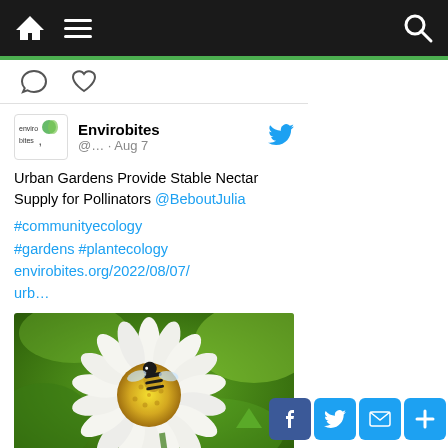Navigation bar with home, menu, and search icons
[Figure (screenshot): Icon row showing comment bubble and heart/like icons]
Envirobites @... · Aug 7
Urban Gardens Provide Stable Nectar Supply for Pollinators @BeboutJulia #communityecology #gardens #plantecology envirobites.org/2022/08/07/urb…
[Figure (photo): Close-up photo of a bee on a white daisy flower with yellow center, green blurred background]
envirobites.org
[Figure (infographic): Social share buttons: Facebook (blue), Twitter (blue), Email (blue), Plus/More (blue), with green chevron up arrow]